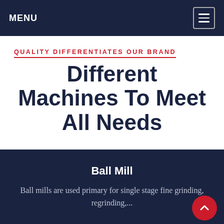MENU
QUALITY DIFFERENTIATES OUR BRAND
Different Machines To Meet All Needs
Ball Mill
Ball mills are used primary for single stage fine grinding, regrinding,...